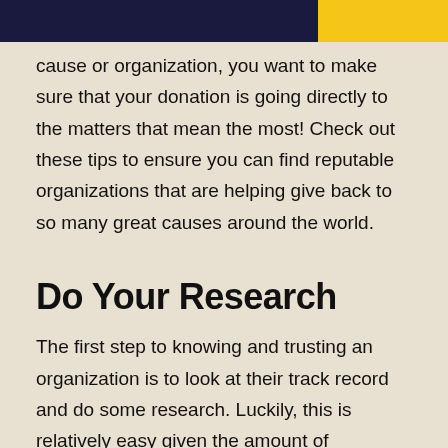cause or organization, you want to make sure that your donation is going directly to the matters that mean the most! Check out these tips to ensure you can find reputable organizations that are helping give back to so many great causes around the world.
Do Your Research
The first step to knowing and trusting an organization is to look at their track record and do some research. Luckily, this is relatively easy given the amount of information available in the world today. In the past, this step would have been much